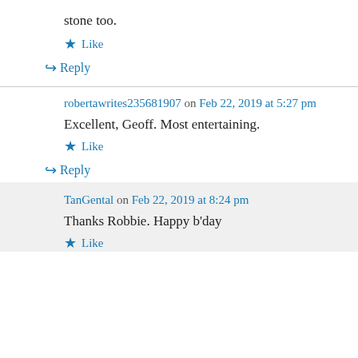stone too.
★ Like
↵ Reply
robertawrites235681907 on Feb 22, 2019 at 5:27 pm
Excellent, Geoff. Most entertaining.
★ Like
↵ Reply
TanGental on Feb 22, 2019 at 8:24 pm
Thanks Robbie. Happy b'day
★ Like